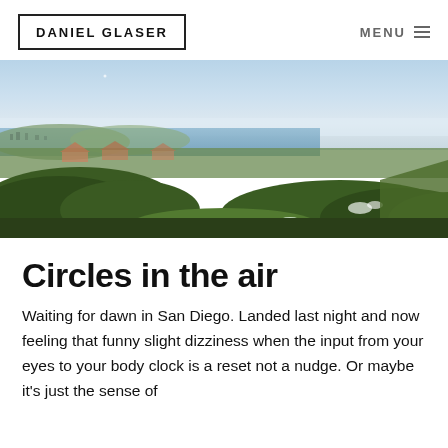DANIEL GLASER | MENU
[Figure (photo): Panoramic photo of a coastal city view (San Diego) at dawn, taken from a hillside garden with trimmed hedges in the foreground, ocean and hazy sky in the background.]
Circles in the air
Waiting for dawn in San Diego. Landed last night and now feeling that funny slight dizziness when the input from your eyes to your body clock is a reset not a nudge. Or maybe it’s just the sense of